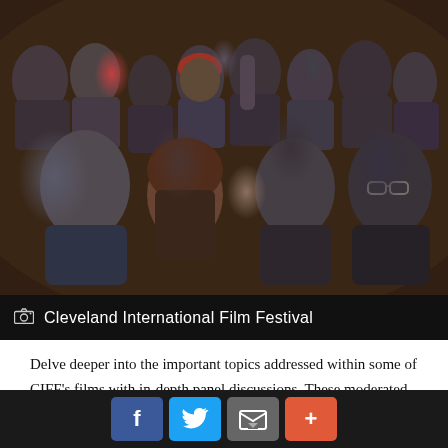[Figure (photo): Audience members seated in a darkened theater at the Cleveland International Film Festival]
Cleveland International Film Festival
Delve deeper into the important topics addressed within some of CIFF's films with in-depth panel discussions. These moderated panels include the directors of select films, community leaders, local experts and scholars of the subject(s).
7. It's ranked up there with Sundance and Cannes.
f  [Twitter bird]  [Email]  +